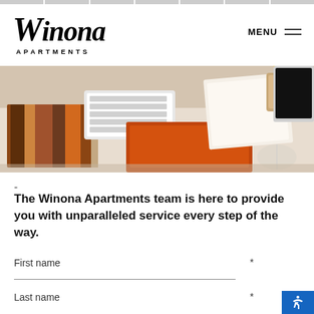Winona Apartments — navigation bar
[Figure (photo): Overhead view of a desk with wood material samples, keyboard, mouse, notebook, pencil holder, and laptop]
-
The Winona Apartments team is here to provide you with unparalleled service every step of the way.
First name *
Last name *